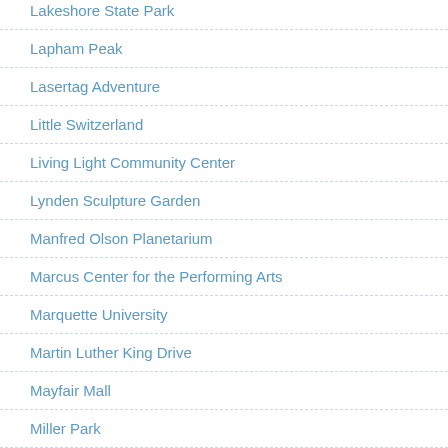Lakeshore State Park
Lapham Peak
Lasertag Adventure
Little Switzerland
Living Light Community Center
Lynden Sculpture Garden
Manfred Olson Planetarium
Marcus Center for the Performing Arts
Marquette University
Martin Luther King Drive
Mayfair Mall
Miller Park
Milwaukee Art Museum